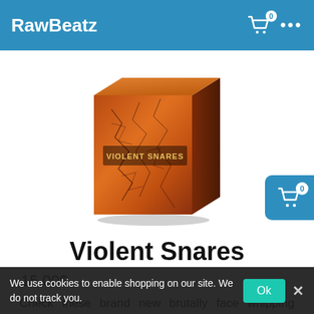RawBeatz
[Figure (photo): Product box image for Violent Snares — a 3D box with a cracked, fiery orange-red texture and the text VIOLENT SNARES on the front]
Violent Snares
15.00$
Check these brand new brutally face whipping snares! But don't worry - these snares won't hurt you. Instead they will spoil your ears with their powerful strength and crispy warmthness. Tired of snares that just
We use cookies to enable shopping on our site. We do not track you.